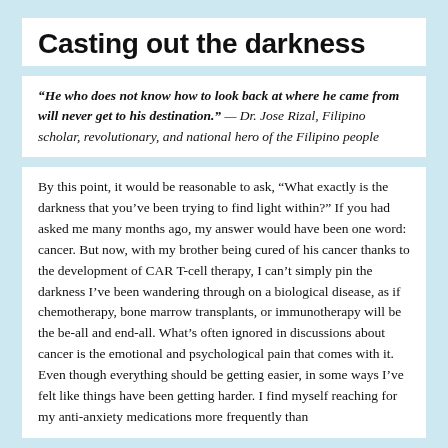Casting out the darkness
“He who does not know how to look back at where he came from will never get to his destination.” — Dr. Jose Rizal, Filipino scholar, revolutionary, and national hero of the Filipino people
By this point, it would be reasonable to ask, “What exactly is the darkness that you’ve been trying to find light within?” If you had asked me many months ago, my answer would have been one word: cancer. But now, with my brother being cured of his cancer thanks to the development of CAR T-cell therapy, I can’t simply pin the darkness I’ve been wandering through on a biological disease, as if chemotherapy, bone marrow transplants, or immunotherapy will be the be-all and end-all. What’s often ignored in discussions about cancer is the emotional and psychological pain that comes with it. Even though everything should be getting easier, in some ways I’ve felt like things have been getting harder. I find myself reaching for my anti-anxiety medications more frequently than